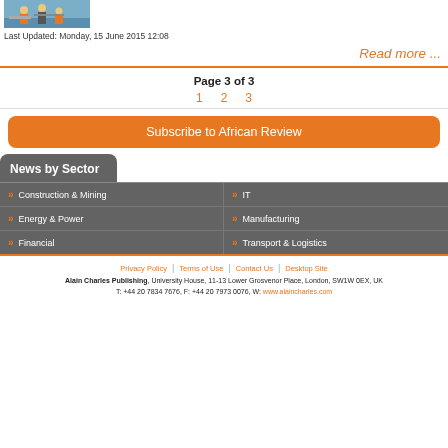[Figure (photo): Photo of people in a factory/industrial setting]
Last Updated: Monday, 15 June 2015 12:08
Read more ...
Page 3 of 3
1  2  3
Subscribe to African Review
News by Sector
Construction & Mining
IT
Energy & Power
Manufacturing
Financial
Transport & Logistics
Privacy Policy | Terms of Use | Contact Us | Desktop Site
Alain Charles Publishing, University House, 11-13 Lower Grosvenor Place, London, SW1W 0EX, UK
T: +44 20 7834 7676, F: +44 20 7973 0076, W: www.alaincharles.com